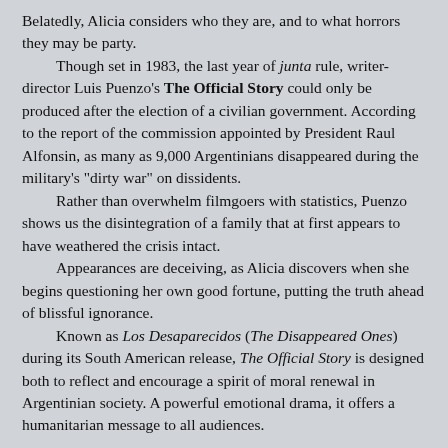Belatedly, Alicia considers who they are, and to what horrors they may be party.
Though set in 1983, the last year of junta rule, writer-director Luis Puenzo's The Official Story could only be produced after the election of a civilian government. According to the report of the commission appointed by President Raul Alfonsin, as many as 9,000 Argentinians disappeared during the military's "dirty war" on dissidents.
Rather than overwhelm filmgoers with statistics, Puenzo shows us the disintegration of a family that at first appears to have weathered the crisis intact.
Appearances are deceiving, as Alicia discovers when she begins questioning her own good fortune, putting the truth ahead of blissful ignorance.
Known as Los Desaparecidos (The Disappeared Ones) during its South American release, The Official Story is designed both to reflect and encourage a spirit of moral renewal in Argentinian society. A powerful emotional drama, it offers a humanitarian message to all audiences.
The above is a restored version of a Province review by Michael Walsh originally published in 1985. For additional